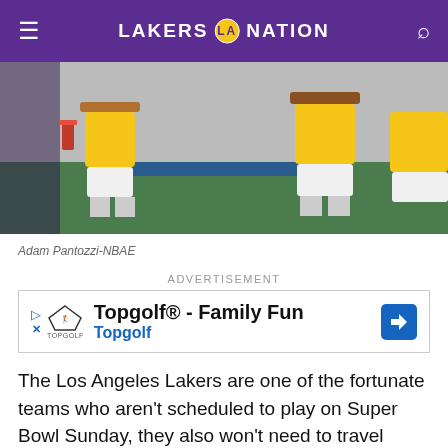LAKERS NATION
[Figure (photo): Two Lakers players in yellow uniforms sitting on the bench]
Adam Pantozzi-NBAE
ADVERTISEMENT
[Figure (other): Advertisement for Topgolf® - Family Fun by Topgolf]
The Los Angeles Lakers are one of the fortunate teams who aren't scheduled to play on Super Bowl Sunday, they also won't need to travel anywhere by virtue of being in the midst of a homestand.
As such, LeBron James and Anthony Davis are